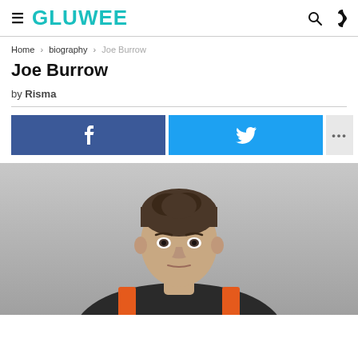GLUWEE
Home › biography › Joe Burrow
Joe Burrow
by Risma
[Figure (screenshot): Social share buttons: Facebook (blue), Twitter (cyan), More (gray with ellipsis)]
[Figure (photo): Photo of Joe Burrow, a young man in a Cincinnati Bengals football uniform, looking directly at camera against a gray background]